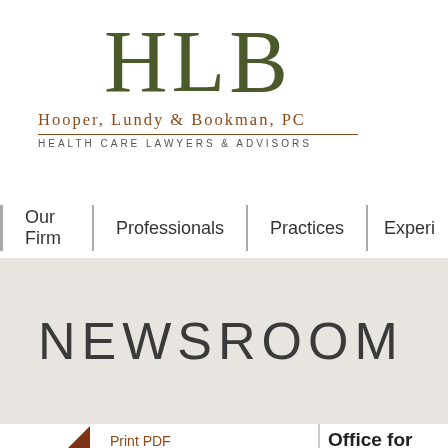[Figure (logo): HLB logo with large serif letters in olive green, firm name 'Hooper, Lundy & Bookman, PC' in brown, and tagline 'Health Care Lawyers & Advisors' in gray]
Our Firm | Professionals | Practices | Experi...
NEWSROOM
Print PDF
Health Law Advisories
Office for Civil R... the Eye of Phar...